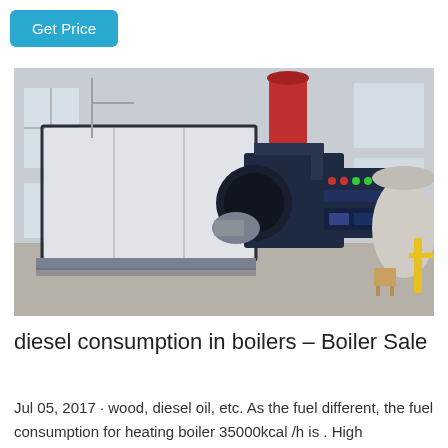Get Price
[Figure (photo): Industrial boiler equipment in a factory/warehouse setting. A large rectangular white/grey boiler unit with dark blue frame is visible in the center-left. Attached to it is a dark blue burner/control unit with indicator lights and gauges. A red cylindrical exhaust stack rises above. On the right side, a large cylindrical tank and yellow railing are visible. The facility has large windows and concrete floors.]
diesel consumption in boilers – Boiler Sale
Jul 05, 2017 · wood, diesel oil, etc. As the fuel different, the fuel consumption for heating boiler 35000kcal /h is . High